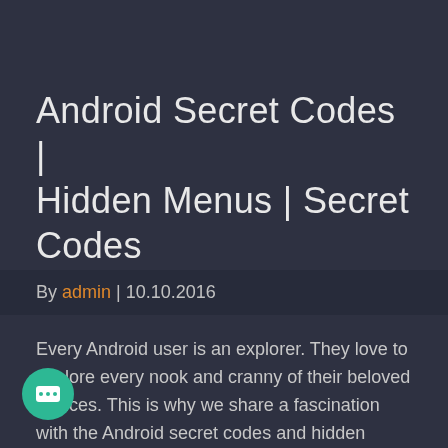Android Secret Codes | Hidden Menus | Secret Codes 2016
By admin | 10.10.2016
Every Android user is an explorer. They love to explore every nook and cranny of their beloved devices. This is why we share a fascination with the Android secret codes and hidden secret menus.
Android is the most popular smartphone OS ever. Developers create various kind of backdoor within the applications and operating systems. Through the...